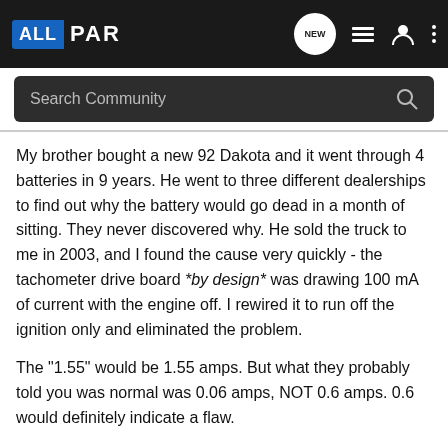[Figure (logo): ALLPAR logo with blue background on ALL and white PAR text on dark header]
[Figure (screenshot): Navigation icons: NEW chat bubble, list icon, user icon, three dots menu]
[Figure (screenshot): Search Community search bar with magnifying glass icon on dark background]
My brother bought a new 92 Dakota and it went through 4 batteries in 9 years. He went to three different dealerships to find out why the battery would go dead in a month of sitting. They never discovered why. He sold the truck to me in 2003, and I found the cause very quickly - the tachometer drive board *by design* was drawing 100 mA of current with the engine off. I rewired it to run off the ignition only and eliminated the problem.
The "1.55" would be 1.55 amps. But what they probably told you was normal was 0.06 amps, NOT 0.6 amps. 0.6 would definitely indicate a flaw.
[Figure (photo): Advertisement showing spray paint cans on blue background with small icons]